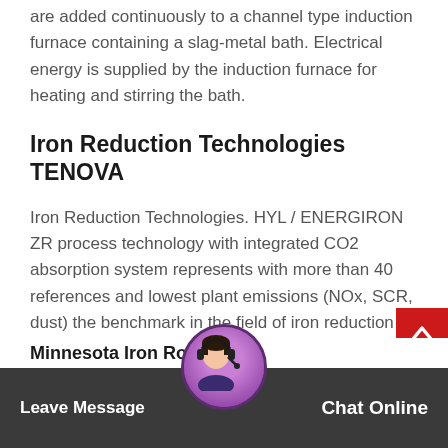are added continuously to a channel type induction furnace containing a slag-metal bath. Electrical energy is supplied by the induction furnace for heating and stirring the bath.
Iron Reduction Technologies TENOVA
Iron Reduction Technologies. HYL / ENERGIRON ZR process technology with integrated CO2 absorption system represents with more than 40 references and lowest plant emissions (NOx, SCR, dust) the benchmark in the field of iron reduction technologies. Tenova HYL and Danieli & C. have formed a partnership for the design and construction of gas-based ...
Minnesota Iron Ro... lines   Leave Message   Chat Online